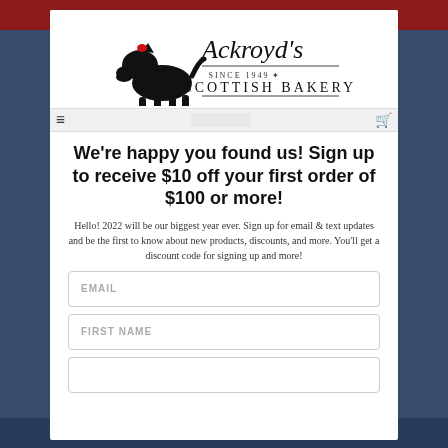[Figure (logo): Ackroyd's Scottish Bakery logo with a black Scottish Terrier dog and cursive/serif text 'Ackroyd's SINCE 1949 SCOTTISH BAKERY']
We're happy you found us! Sign up to receive $10 off your first order of $100 or more!
Hello! 2022 will be our biggest year ever. Sign up for email & text updates and be the first to know about new products, discounts, and more. You'll get a discount code for signing up and more!
EMAIL
FIRST NAME